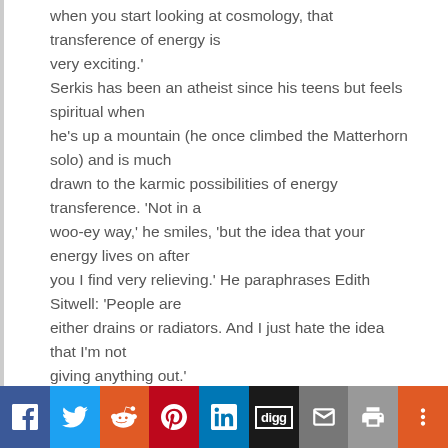when you start looking at cosmology, that transference of energy is very exciting.' Serkis has been an atheist since his teens but feels spiritual when he's up a mountain (he once climbed the Matterhorn solo) and is much drawn to the karmic possibilities of energy transference. 'Not in a woo-ey way,' he smiles, 'but the idea that your energy lives on after you I find very relieving.' He paraphrases Edith Sitwell: 'People are either drains or radiators. And I just hate the idea that I'm not giving anything out.' Serkis needn't worry: he's a one-man central heating
Social sharing bar: Facebook, Twitter, Reddit, Pinterest, LinkedIn, Digg, Email, Print, More